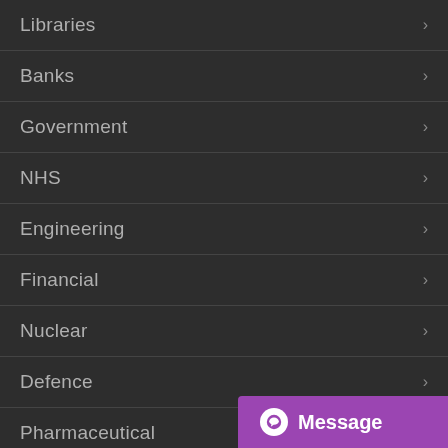Libraries
Banks
Government
NHS
Engineering
Financial
Nuclear
Defence
Pharmaceutical
Message